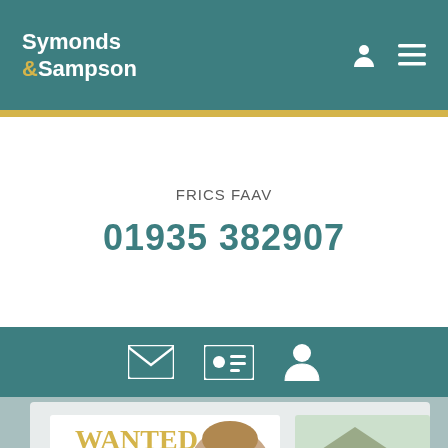Symonds & Sampson
FRICS FAAV
01935 382907
[Figure (infographic): Teal icon bar with email, ID card, and person icons]
[Figure (photo): A young man smiling in front of a Symonds & Sampson estate agency window with a WANTED sign and property photos]